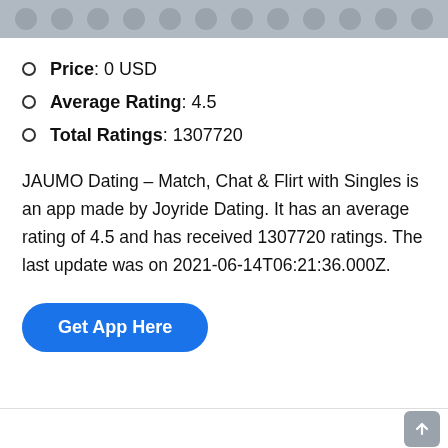[Figure (screenshot): Grey top navigation bar with circular dot icons]
Price: 0 USD
Average Rating: 4.5
Total Ratings: 1307720
JAUMO Dating – Match, Chat & Flirt with Singles is an app made by Joyride Dating. It has an average rating of 4.5 and has received 1307720 ratings. The last update was on 2021-06-14T06:21:36.000Z.
Get App Here